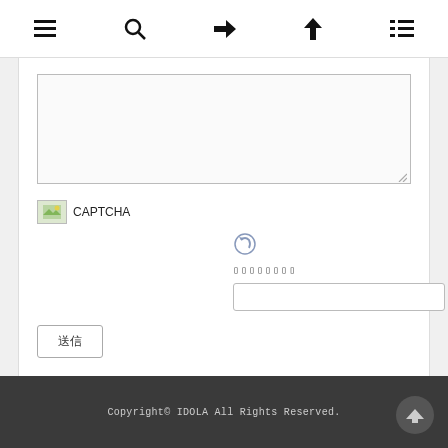☰ 🔍 → ↑ ☰ (navigation bar icons)
[Figure (screenshot): A textarea input box, mostly empty, with a resize handle in the bottom-right corner]
[Figure (screenshot): CAPTCHA section with broken image placeholder labeled CAPTCHA, a refresh icon, placeholder text boxes, and a text input field below]
[Figure (screenshot): Submit button with Japanese text (送信)]
Copyright© IDOLA All Rights Reserved.